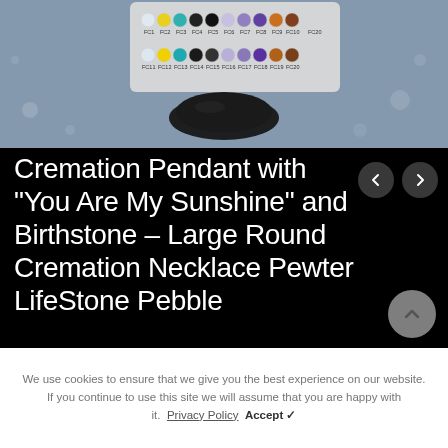[Figure (photo): Product photo showing a color selection card with crystal/gemstone options labeled FC1 through FC20, with a dark pewter round pendant below it, set against a blue-gray background.]
Cremation Pendant with “You Are My Sunshine” and Birthstone – Large Round Cremation Necklace Pewter LifeStone Pebble
We use cookies to ensure that we give you the best experience on our website. If you continue to use this site we will assume that you are happy with it.  Privacy Policy  Accept ✓